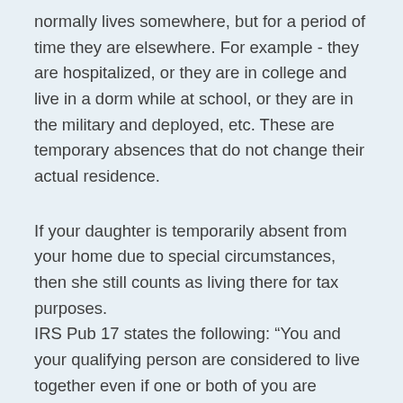normally lives somewhere, but for a period of time they are elsewhere. For example - they are hospitalized, or they are in college and live in a dorm while at school, or they are in the military and deployed, etc. These are temporary absences that do not change their actual residence.
If your daughter is temporarily absent from your home due to special circumstances, then she still counts as living there for tax purposes. IRS Pub 17 states the following: "You and your qualifying person are considered to live together even if one or both of you are temporarily absent from your home due to special circumstances, such as illness, education, business, vacation, military service, or detention in a juvenile facility. It must be reasonable to assume the absent person will return